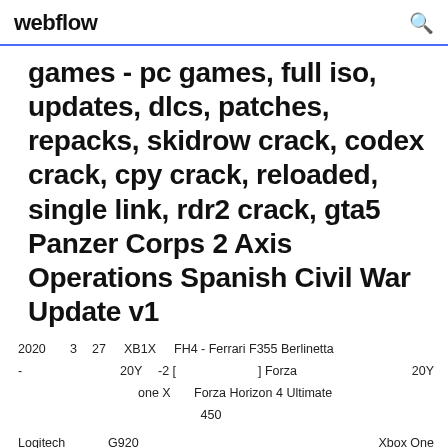webflow
games - pc games, full iso, updates, dlcs, patches, repacks, skidrow crack, codex crack, cpy crack, reloaded, single link, rdr2 crack, gta5 Panzer Corps 2 Axis Operations Spanish Civil War Update v1
2020  3  27    XB1X  FH4 - Ferrari F355 Berlinetta -        20Y  -2 [           ] Forza             20Y          one X    Forza Horizon 4 Ultimate                                     450   Logitech          G920                    Xbox One   PC         Forza Horizon 4                       | Xbox